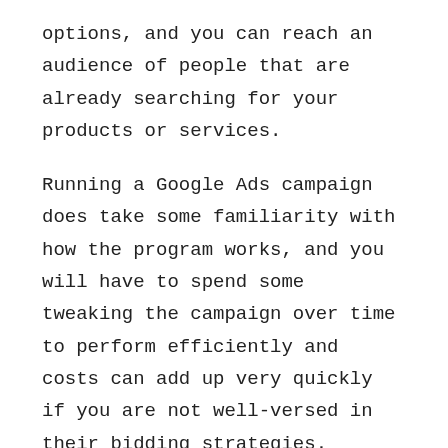options, and you can reach an audience of people that are already searching for your products or services.
Running a Google Ads campaign does take some familiarity with how the program works, and you will have to spend some tweaking the campaign over time to perform efficiently and costs can add up very quickly if you are not well-versed in their bidding strategies.
Affiliate programs
Affiliate marketing is a business partnership between an affiliate and the business looking to